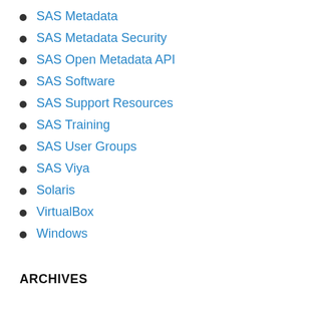SAS Metadata
SAS Metadata Security
SAS Open Metadata API
SAS Software
SAS Support Resources
SAS Training
SAS User Groups
SAS Viya
Solaris
VirtualBox
Windows
ARCHIVES